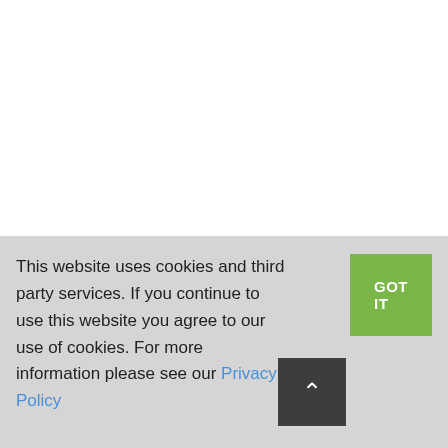Principal Commanders: Maj. Gen. George Crook [US]; Maj. Gen. Rosser and Maj. Gen. Fitzhugh Lee [CS]
This website uses cookies and third party services. If you continue to use this website you agree to our use of cookies. For more information please see our Privacy Policy